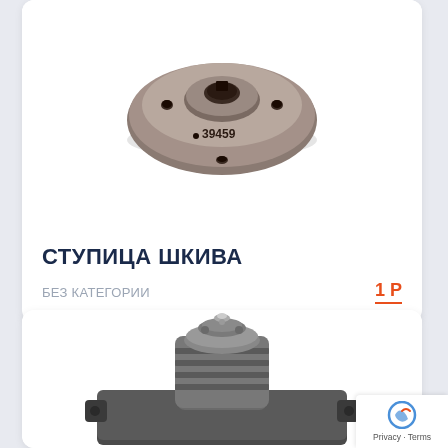[Figure (photo): Photo of a metal pulley hub (ступица шкива) — a circular flanged disc-shaped machined metal part with central bore, bolt holes, and handwritten number '39459']
СТУПИЦА ШКИВА
БЕЗ КАТЕГОРИИ
1 Р
[Figure (photo): Photo of a metal water pump / pulley assembly — a cylindrical ribbed metal casting with mounting plate and central shaft, viewed from above-front]